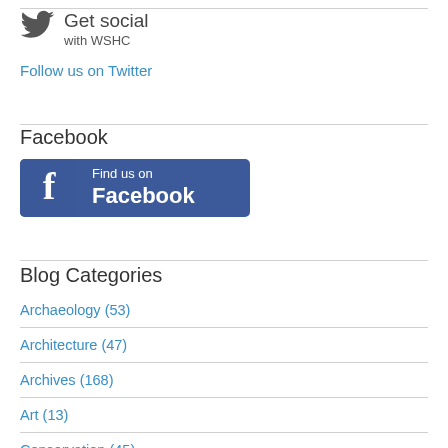Get social with WSHC
Follow us on Twitter
Facebook
[Figure (logo): Find us on Facebook badge with blue Facebook icon and text 'Find us on Facebook']
Blog Categories
Archaeology (53)
Architecture (47)
Archives (168)
Art (13)
Conservation (45)